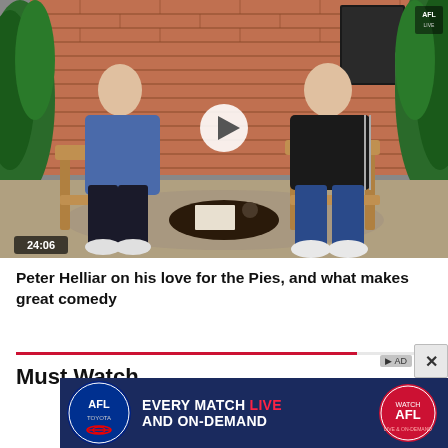[Figure (screenshot): Video thumbnail showing two men seated in chairs in a TV studio with brick wall background, having a conversation. A play button is overlaid in the center. Duration badge shows 24:06 in bottom left. AFL logo visible in top right corner.]
Peter Helliar on his love for the Pies, and what makes great comedy
Must Watch
[Figure (infographic): AFL advertisement banner: dark navy background with AFL Toyota logo on left, text 'EVERY MATCH LIVE AND ON-DEMAND' in white and red, Watch AFL badge on right. Info icon and close (X) button visible above/beside banner.]